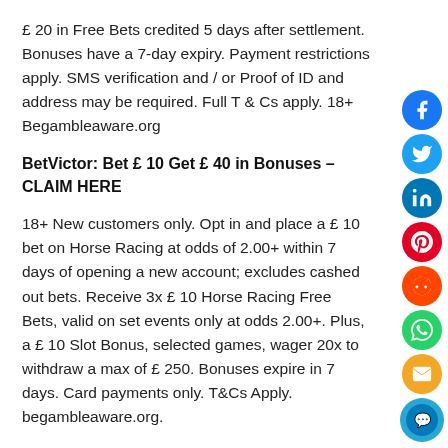£ 20 in Free Bets credited 5 days after settlement. Bonuses have a 7-day expiry. Payment restrictions apply. SMS verification and / or Proof of ID and address may be required. Full T & Cs apply. 18+ Begambleaware.org
BetVictor: Bet £ 10 Get £ 40 in Bonuses – CLAIM HERE
18+ New customers only. Opt in and place a £ 10 bet on Horse Racing at odds of 2.00+ within 7 days of opening a new account; excludes cashed out bets. Receive 3x £ 10 Horse Racing Free Bets, valid on set events only at odds 2.00+. Plus, a £ 10 Slot Bonus, selected games, wager 20x to withdraw a max of £ 250. Bonuses expire in 7 days. Card payments only. T&Cs Apply. begambleaware.org.
Commercial content notice: Taking one of the